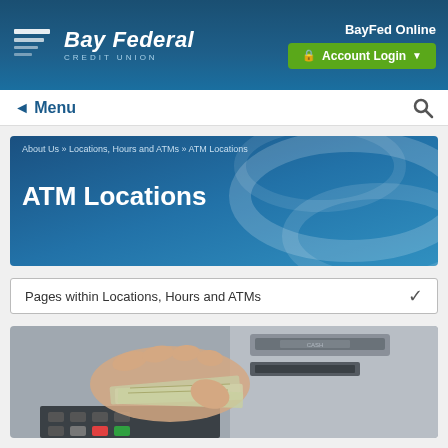[Figure (logo): Bay Federal Credit Union logo with white icon and text on dark blue header background]
BayFed Online
Account Login
Menu
About Us » Locations, Hours and ATMs » ATM Locations
ATM Locations
Pages within Locations, Hours and ATMs
[Figure (photo): A hand withdrawing cash (dollar bills) from an ATM machine, showing ATM keypad with colorful buttons]